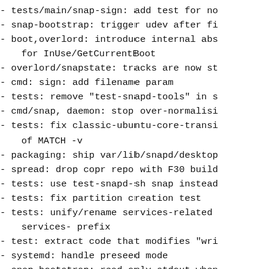- tests/main/snap-sign: add test for no
- snap-bootstrap: trigger udev after fi
- boot,overlord: introduce internal abs
    for InUse/GetCurrentBoot
- overlord/snapstate: tracks are now st
- cmd: sign: add filename param
- tests: remove "test-snapd-tools" in s
- cmd/snap, daemon: stop over-normalisi
- tests: fix classic-ubuntu-core-transi
    of MATCH -v
- packaging: ship var/lib/snapd/desktop
- spread: drop copr repo with F30 build
- tests: use test-snapd-sh snap instead
- tests: fix partition creation test
- tests: unify/rename services-related
    services- prefix
- test: extract code that modifies "wri
- systemd: handle preseed mode
- snap-bootstrap: read only stdout when
- interfaces/browser-support: add more
- boot: write compat UC16 bootvars in m
- devicestate: avoid adding mockModel t
- devicestate: request reboot after suc